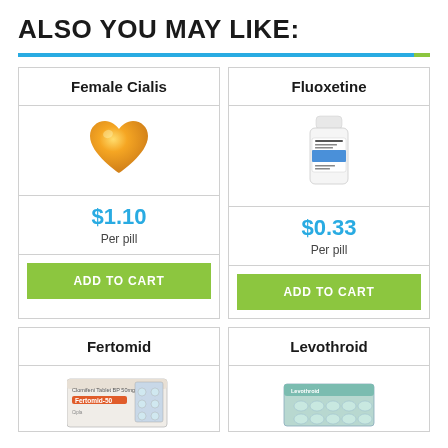ALSO YOU MAY LIKE:
Female Cialis
[Figure (illustration): Golden/orange heart-shaped pill illustration]
$1.10 Per pill
ADD TO CART
Fluoxetine
[Figure (photo): White medication bottle with Fluoxetine label]
$0.33 Per pill
ADD TO CART
Fertomid
[Figure (photo): Fertomid-50 tablet blister pack box]
Levothroid
[Figure (photo): Levothroid tablet blister pack]